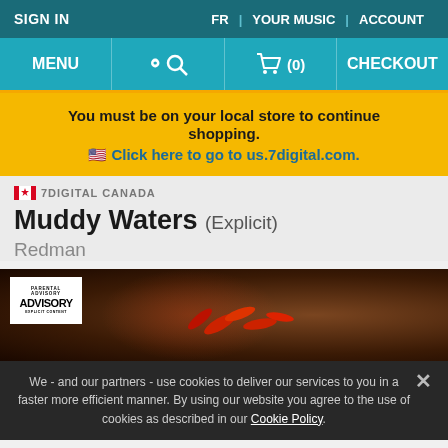SIGN IN   FR   YOUR MUSIC   ACCOUNT
MENU  [search icon]  [cart icon] (0)  CHECKOUT
You must be on your local store to continue shopping. 🇺🇸 Click here to go to us.7digital.com.
🇨🇦 7DIGITAL CANADA
Muddy Waters (Explicit)
Redman
[Figure (photo): Album cover for Muddy Waters (Explicit) by Redman showing a dark background with red chilies and a microphone stand, with Parental Advisory Explicit Content label in top-left]
We - and our partners - use cookies to deliver our services to you in a faster more efficient manner. By using our website you agree to the use of cookies as described in our Cookie Policy.